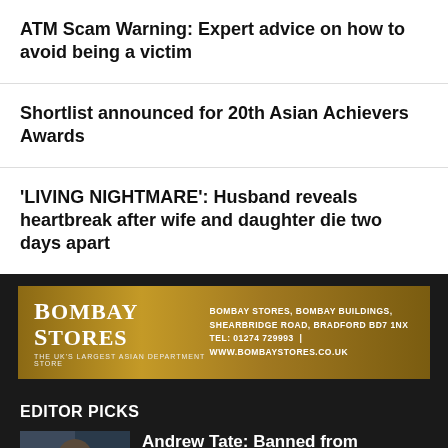ATM Scam Warning: Expert advice on how to avoid being a victim
Shortlist announced for 20th Asian Achievers Awards
'LIVING NIGHTMARE': Husband reveals heartbreak after wife and daughter die two days apart
[Figure (advertisement): Bombay Stores advertisement banner. Gold/tan background. Left side: 'BOMBAY STORES – THE UK'S LARGEST ASIAN DEPARTMENT STORE'. Right side: 'BOMBAY STORES, BOMBAY BUILDINGS, SHEARBRIDGE ROAD, BRADFORD BD7 1NX. TEL: 01274 729993 | WWW.BOMBAYSTORES.CO.UK']
EDITOR PICKS
[Figure (photo): Photo of Andrew Tate, man in dark clothing]
Andrew Tate: Banned from platforms for 'hateful ideology'